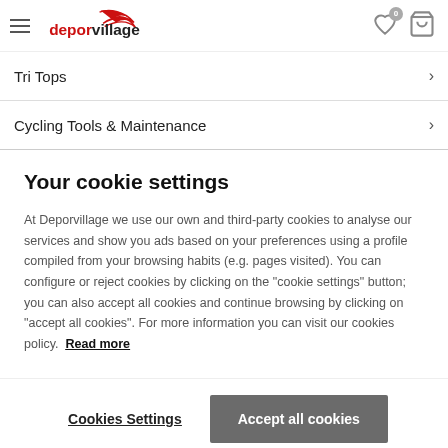Deporvillage header with hamburger menu, logo, wishlist and cart icons
Tri Tops
Cycling Tools & Maintenance
Your cookie settings
At Deporvillage we use our own and third-party cookies to analyse our services and show you ads based on your preferences using a profile compiled from your browsing habits (e.g. pages visited). You can configure or reject cookies by clicking on the "cookie settings" button; you can also accept all cookies and continue browsing by clicking on "accept all cookies". For more information you can visit our cookies policy. Read more
Cookies Settings | Accept all cookies